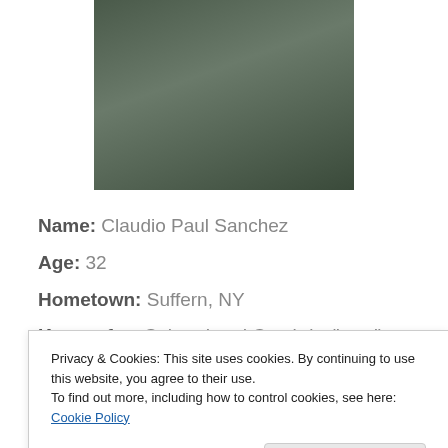[Figure (photo): Partial photo of a person wearing a dark jacket with a blue lanyard, cropped to show upper body/chest area]
Name: Claudio Paul Sanchez
Age: 32
Hometown: Suffern, NY
Known for: Coheed and Cambria (band)
The Prize Fighter Inferno (band)
Armory Wars (comic)
Privacy & Cookies: This site uses cookies. By continuing to use this website, you agree to their use.
To find out more, including how to control cookies, see here: Cookie Policy
Close and accept